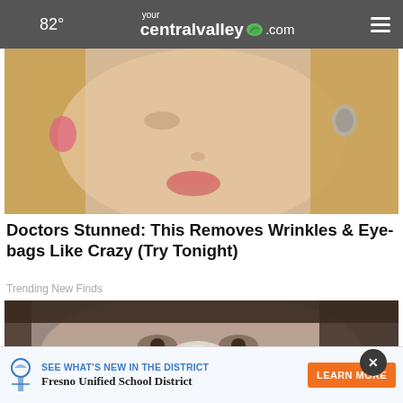82° yourcentralvalley.com
[Figure (photo): Close-up photo of a blonde woman touching her face near her eye, wearing a dangling earring, with pink painted nails visible]
Doctors Stunned: This Removes Wrinkles & Eye-bags Like Crazy (Try Tonight)
Trending New Finds
[Figure (photo): Close-up photo of an Asian woman applying or holding an ice cube or white cream/treatment on her nose area, with a dark background]
[Figure (screenshot): Fresno Unified School District advertisement banner: SEE WHAT'S NEW IN THE DISTRICT with LEARN MORE button]